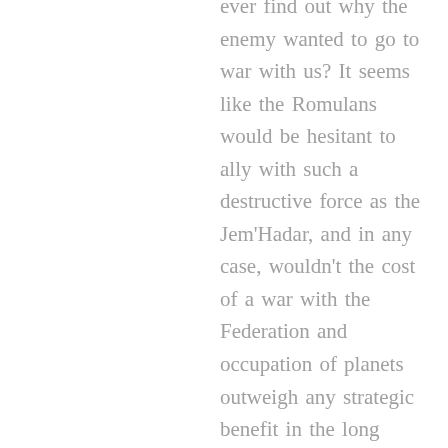ever find out why the enemy wanted to go to war with us? It seems like the Romulans would be hesitant to ally with such a destructive force as the Jem'Hadar, and in any case, wouldn't the cost of a war with the Federation and occupation of planets outweigh any strategic benefit in the long term?